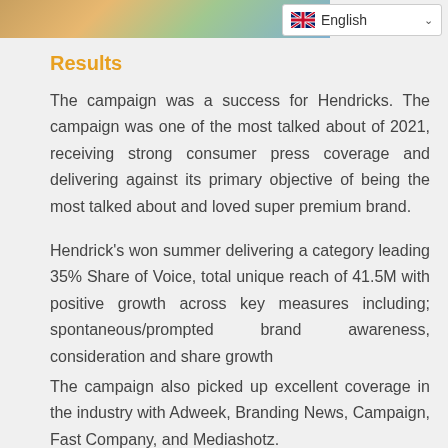[Figure (photo): Partial image visible at the top left of the page]
Results
The campaign was a success for Hendricks. The campaign was one of the most talked about of 2021, receiving strong consumer press coverage and delivering against its primary objective of being the most talked about and loved super premium brand.
Hendrick's won summer delivering a category leading 35% Share of Voice, total unique reach of 41.5M with positive growth across key measures including; spontaneous/prompted brand awareness, consideration and share growth
The campaign also picked up excellent coverage in the industry with Adweek, Branding News, Campaign, Fast Company, and Mediashotz.